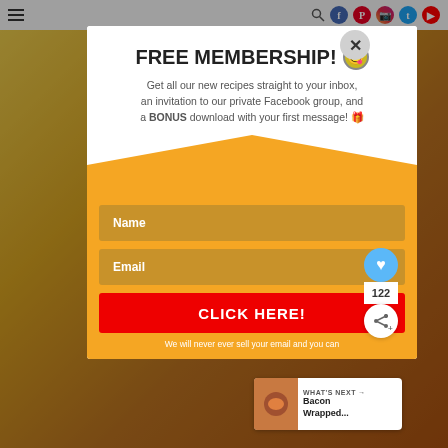Navigation header with menu icon and social media icons (search, Facebook, Pinterest, Instagram, Twitter, YouTube)
FREE MEMBERSHIP! 🍽
Get all our new recipes straight to your inbox, an invitation to our private Facebook group, and a BONUS download with your first message! 🎁
Name
Email
CLICK HERE!
We will never ever sell your email and you can